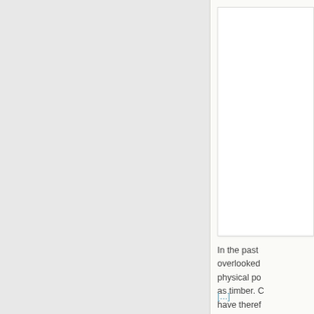In the past overlooked physical po as timber. C have theref
[...]